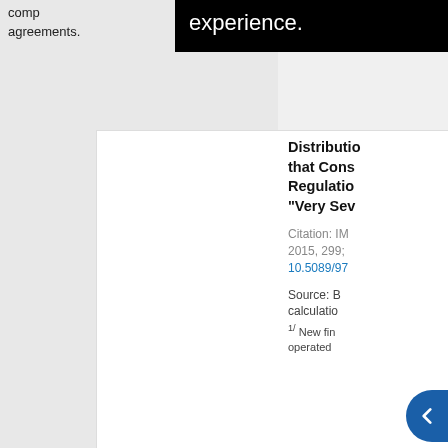comp... agreements.
[Figure (other): White figure panel with 'View Full Size' link, partially visible chart or image content]
View Full Size
Distribution that Considers Regulations "Very Sev..."
Citation: IM... 2015, 299; 10.5089/97...
Source: B... calculations. 1/ New fin... operated...
Do... Pow...